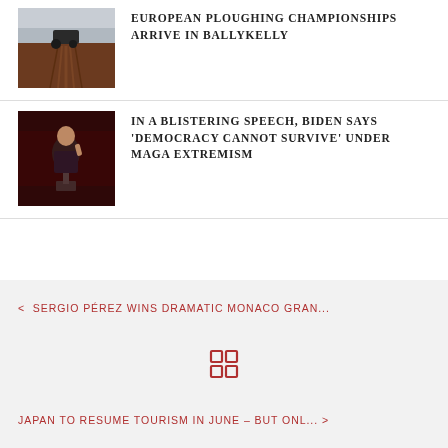[Figure (photo): A tractor ploughing a brown field at the European Ploughing Championships in Ballykelly]
EUROPEAN PLOUGHING CHAMPIONSHIPS ARRIVE IN BALLYKELLY
[Figure (photo): Biden speaking at a podium with dramatic red lighting behind him]
IN A BLISTERING SPEECH, BIDEN SAYS 'DEMOCRACY CANNOT SURVIVE' UNDER MAGA EXTREMISM
< SERGIO PÉREZ WINS DRAMATIC MONACO GRAN...
JAPAN TO RESUME TOURISM IN JUNE – BUT ONL... >